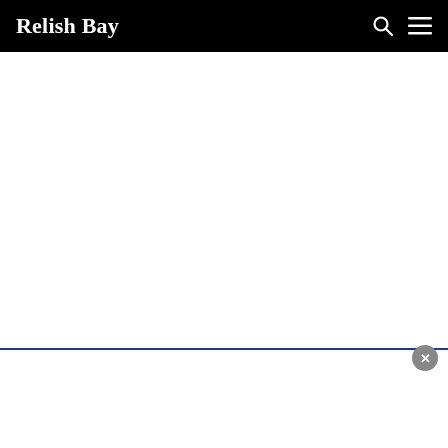Relish Bay
[Figure (screenshot): White blank content area below the header navigation bar]
[Figure (screenshot): Bottom popup/notification banner with blue top border and close button (X) in grey circle at top-right corner]